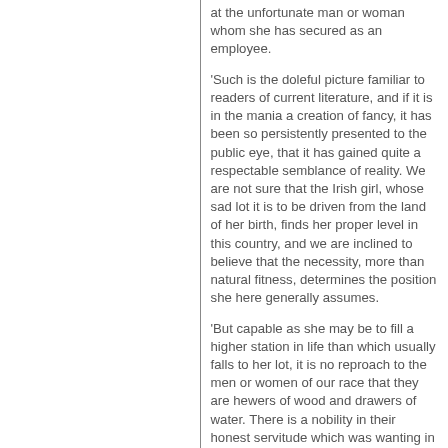at the unfortunate man or woman whom she has secured as an employee.
'Such is the doleful picture familiar to readers of current literature, and if it is in the mania a creation of fancy, it has been so persistently presented to the public eye, that it has gained quite a respectable semblance of reality. We are not sure that the Irish girl, whose sad lot it is to be driven from the land of her birth, finds her proper level in this country, and we are inclined to believe that the necessity, more than natural fitness, determines the position she here generally assumes.
'But capable as she may be to fill a higher station in life than which usually falls to her lot, it is no reproach to the men or women of our race that they are hewers of wood and drawers of water. There is a nobility in their honest servitude which was wanting in many of the pursuits which claim more of the world's esteem.
'Men glorify the progress that has asserted the dignity of